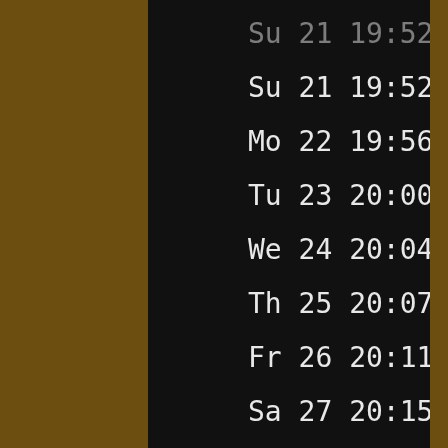Su 21 19:52:11 27CN32
Mo 22 19:56:07 28CN29
Tu 23 20:00:04 29CN27
We 24 20:04:00 00LE24
Th 25 20:07:57 01LE21
Fr 26 20:11:53 02LE19
Sa 27 20:15:50 03LE16